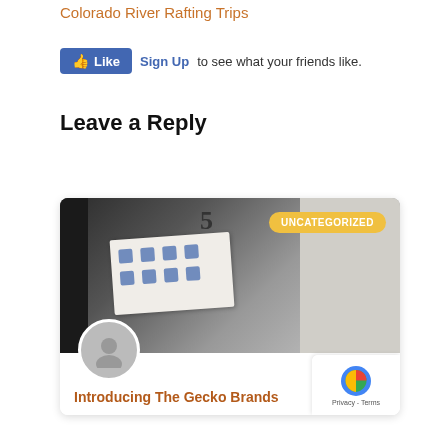Colorado River Rafting Trips
[Figure (screenshot): Facebook Like button widget with Sign Up link and text 'to see what your friends like.']
Leave a Reply
[Figure (photo): Blog post card showing a photo of gear/equipment with a paper calendar/document attached, an UNCATEGORIZED badge, a user avatar at the bottom left, and the title 'Introducing The Gecko Brands' in orange text. A reCAPTCHA privacy overlay is visible in the bottom right corner.]